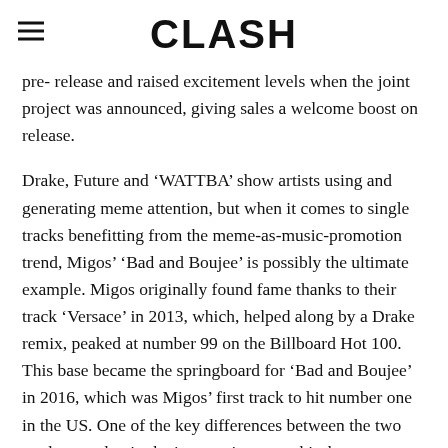CLASH
pre- release and raised excitement levels when the joint project was announced, giving sales a welcome boost on release.
Drake, Future and ‘WATTBA’ show artists using and generating meme attention, but when it comes to single tracks benefitting from the meme-as-music-promotion trend, Migos’ ‘Bad and Boujee’ is possibly the ultimate example. Migos originally found fame thanks to their track ‘Versace’ in 2013, which, helped along by a Drake remix, peaked at number 99 on the Billboard Hot 100. This base became the springboard for ‘Bad and Boujee’ in 2016, which was Migos’ first track to hit number one in the US. One of the key differences between the two tracks was that in the intervening years hip-hop memes had made it into the mainstream.
Riffs on the opening line “Raindrop, drop top” made their